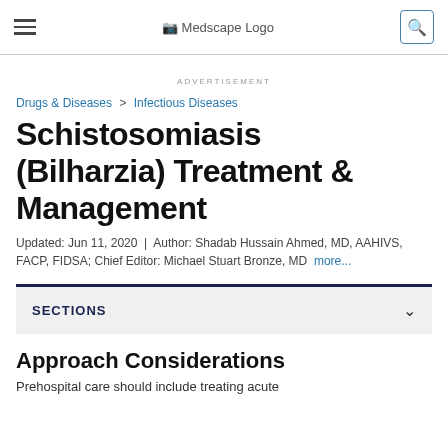Medscape Logo
ADVERTISEMENT
Drugs & Diseases > Infectious Diseases
Schistosomiasis (Bilharzia) Treatment & Management
Updated: Jun 11, 2020 | Author: Shadab Hussain Ahmed, MD, AAHIVS, FACP, FIDSA; Chief Editor: Michael Stuart Bronze, MD more...
SECTIONS
Approach Considerations
Prehospital care should include treating acute